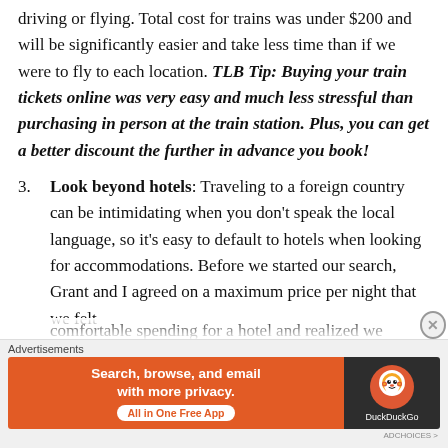driving or flying. Total cost for trains was under $200 and will be significantly easier and take less time than if we were to fly to each location. TLB Tip: Buying your train tickets online was very easy and much less stressful than purchasing in person at the train station. Plus, you can get a better discount the further in advance you book!
3. Look beyond hotels: Traveling to a foreign country can be intimidating when you don't speak the local language, so it's easy to default to hotels when looking for accommodations. Before we started our search, Grant and I agreed on a maximum price per night that we felt comfortable spending for a hotel and realized we...
[Figure (other): DuckDuckGo advertisement banner: orange left section with text 'Search, browse, and email with more privacy. All in One Free App' and dark right section with DuckDuckGo logo]